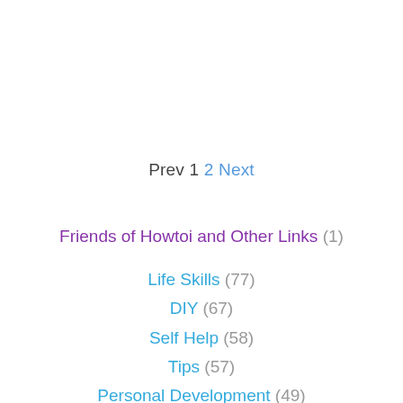Prev 1 2 Next
Friends of Howtoi and Other Links (1)
Life Skills (77)
DIY (67)
Self Help (58)
Tips (57)
Personal Development (49)
home (40)